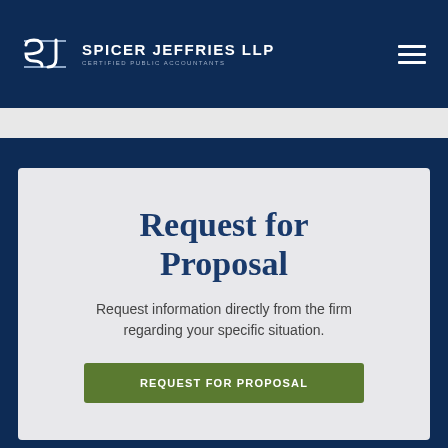SPICER JEFFRIES LLP — Certified Public Accountants
Request for Proposal
Request information directly from the firm regarding your specific situation.
REQUEST FOR PROPOSAL